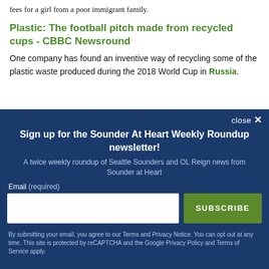fees for a girl from a poor immigrant family.
Plastic: The football pitch made from recycled cups - CBBC Newsround
One company has found an inventive way of recycling some of the plastic waste produced during the 2018 World Cup in Russia.
close ×
Sign up for the Sounder At Heart Weekly Roundup newsletter!
A twice weekly roundup of Seattle Sounders and OL Reign news from Sounder at Heart
Email (required)
SUBSCRIBE
By submitting your email, you agree to our Terms and Privacy Notice. You can opt out at any time. This site is protected by reCAPTCHA and the Google Privacy Policy and Terms of Service apply.